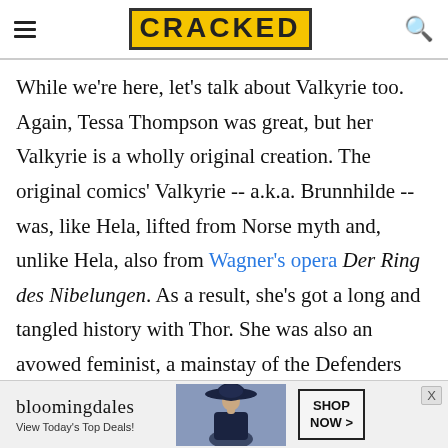CRACKED
While we're here, let's talk about Valkyrie too. Again, Tessa Thompson was great, but her Valkyrie is a wholly original creation. The original comics' Valkyrie -- a.k.a. Brunnhilde -- was, like Hela, lifted from Norse myth and, unlike Hela, also from Wagner's opera Der Ring des Nibelungen. As a result, she's got a long and tangled history with Thor. She was also an avowed feminist, a mainstay of the Defenders through the '70s and '80s, and, thanks to Amora the Enchantress and some spirit-swapping, had at least five human alter-
[Figure (other): Bloomingdale's advertisement banner with logo, tagline 'View Today's Top Deals!', fashion photo of woman with hat, and 'SHOP NOW >' button]